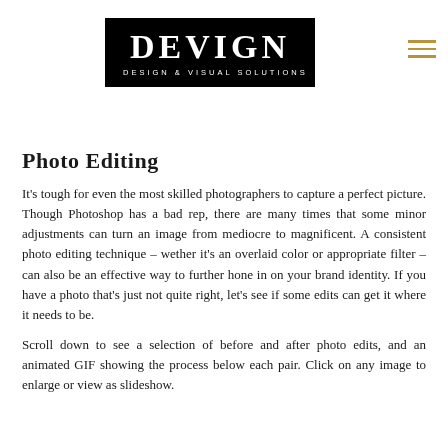[Figure (logo): DEVIGN Design & Visual Solutions logo — white text on black background rectangle, with a hamburger menu icon (three horizontal gold lines) to the right]
Photo Editing
It's tough for even the most skilled photographers to capture a perfect picture. Though Photoshop has a bad rep, there are many times that some minor adjustments can turn an image from mediocre to magnificent. A consistent photo editing technique – wether it's an overlaid color or appropriate filter – can also be an effective way to further hone in on your brand identity. If you have a photo that's just not quite right, let's see if some edits can get it where it needs to be.
Scroll down to see a selection of before and after photo edits, and an animated GIF showing the process below each pair. Click on any image to enlarge or view as slideshow.